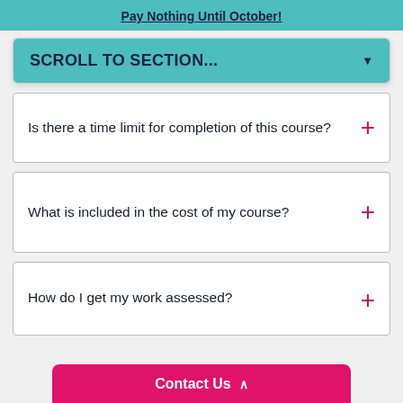Pay Nothing Until October!
SCROLL TO SECTION...
Is there a time limit for completion of this course?
What is included in the cost of my course?
How do I get my work assessed?
Contact Us